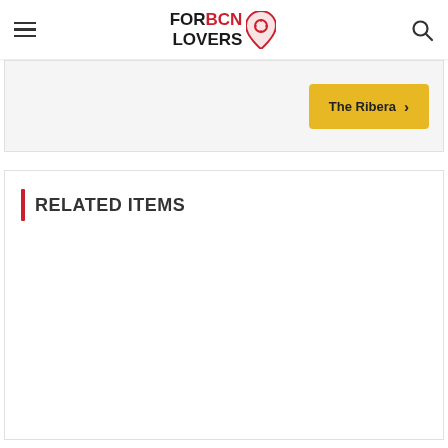FOR BCN LOVERS
[Figure (other): Yellow button with text 'The Ribera' and a right chevron arrow]
RELATED ITEMS